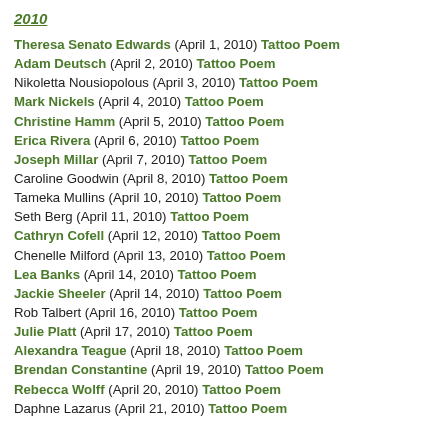2010
Theresa Senato Edwards (April 1, 2010) Tattoo Poem
Adam Deutsch (April 2, 2010) Tattoo Poem
Nikoletta Nousiopolous (April 3, 2010) Tattoo Poem
Mark Nickels (April 4, 2010) Tattoo Poem
Christine Hamm (April 5, 2010) Tattoo Poem
Erica Rivera (April 6, 2010) Tattoo Poem
Joseph Millar (April 7, 2010) Tattoo Poem
Caroline Goodwin (April 8, 2010) Tattoo Poem
Tameka Mullins (April 10, 2010) Tattoo Poem
Seth Berg (April 11, 2010) Tattoo Poem
Cathryn Cofell (April 12, 2010) Tattoo Poem
Chenelle Milford (April 13, 2010) Tattoo Poem
Lea Banks (April 14, 2010) Tattoo Poem
Jackie Sheeler (April 14, 2010) Tattoo Poem
Rob Talbert (April 16, 2010) Tattoo Poem
Julie Platt (April 17, 2010) Tattoo Poem
Alexandra Teague (April 18, 2010) Tattoo Poem
Brendan Constantine (April 19, 2010) Tattoo Poem
Rebecca Wolff (April 20, 2010) Tattoo Poem
Daphne Lazarus (April 21, 2010) Tattoo Poem